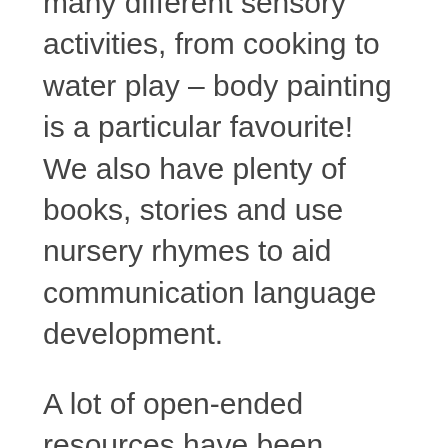many different sensory activities, from cooking to water play – body painting is a particular favourite! We also have plenty of books, stories and use nursery rhymes to aid communication language development.
A lot of open-ended resources have been introduced to the Sunshine Room, along with resources that encourage children's interests. We have a 'key person' system in place, so that you and your child are able develop a real bond with one person who will get to know your child well.
We also understand that for some